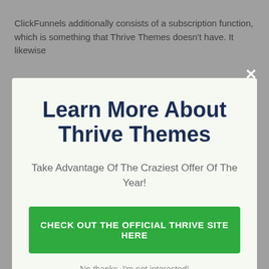ClickFunnels additionally consists of a subscription function, which is something that Thrive Themes doesn't have. It likewise
[Figure (screenshot): Modal popup overlay with title 'Learn More About Thrive Themes', subtitle 'Take Advantage Of The Craziest Offer Of The Year!', a green CTA button 'CHECK OUT THE OFFICIAL THRIVE SITE HERE', and a decline link 'No thanks, I'm not interested!']
and also you are not locked right into anything.
With ClickFunnels, however, you are entirely depending on the